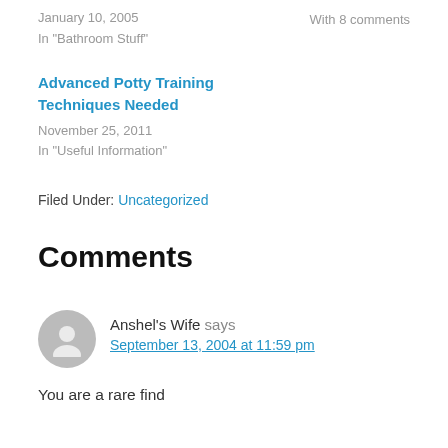January 10, 2005
In "Bathroom Stuff"
With 8 comments
Advanced Potty Training Techniques Needed
November 25, 2011
In "Useful Information"
Filed Under: Uncategorized
Comments
Anshel's Wife says
September 13, 2004 at 11:59 pm
You are a rare find